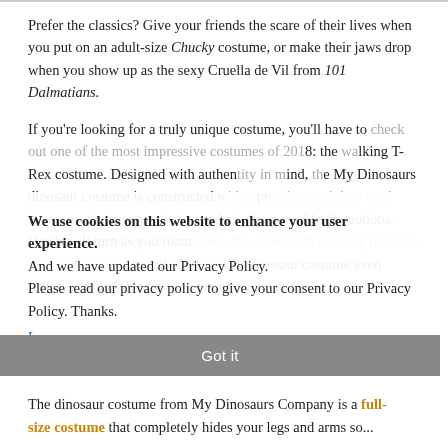Prefer the classics? Give your friends the scare of their lives when you put on an adult-size Chucky costume, or make their jaws drop when you show up as the sexy Cruella de Vil from 101 Dalmatians.
If you're looking for a truly unique costume, you'll have to check out one of the most impressive costumes of 2018: the walking T-Rex costume. Designed with authenticity in mind, the My Dinosaurs dinosaur costume is constructed with a premium stainless steel frame, realistic textured skin, and a full range of body motions. Heads will turn as you roam down the street with blinking reptilian eyes and a swinging tail. This lifelike dinosaur costume even features realistic roaring and breathing sounds!
We use cookies on this website to enhance your user experience. And we have updated our Privacy Policy. Please read our privacy policy to give your consent to our Privacy Policy. Thanks.
Learn more
Got it
The dinosaur costume from My Dinosaurs Company is a full-size costume that completely hides your legs and arms so...